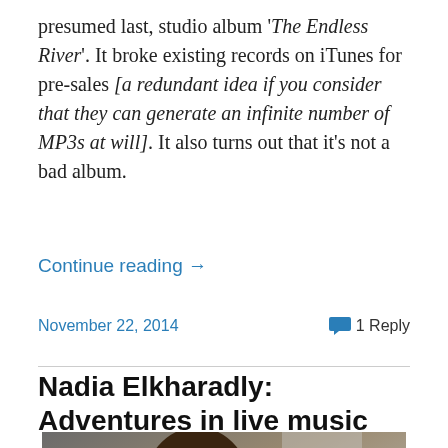presumed last, studio album 'The Endless River'. It broke existing records on iTunes for pre-sales [a redundant idea if you consider that they can generate an infinite number of MP3s at will]. It also turns out that it's not a bad album.
Continue reading →
November 22, 2014    💬 1 Reply
Nadia Elkharadly: Adventures in live music
[Figure (photo): Portrait photo of a woman with dark hair, smiling slightly, photographed near a window]